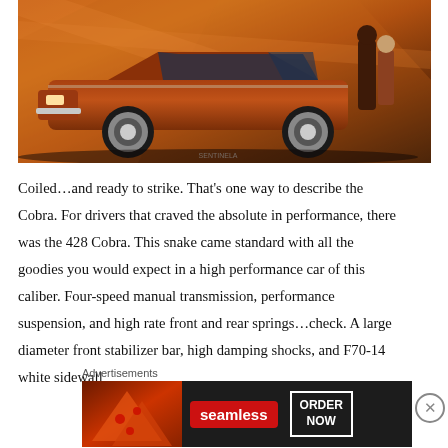[Figure (photo): Vintage orange/brown muscle car (Ford Torino Cobra) photographed from the side against a warm orange abstract background, with two people (a man and woman) standing near the rear of the car.]
Coiled…and ready to strike. That's one way to describe the Cobra. For drivers that craved the absolute in performance, there was the 428 Cobra. This snake came standard with all the goodies you would expect in a high performance car of this caliber. Four-speed manual transmission, performance suspension, and high rate front and rear springs…check. A large diameter front stabilizer bar, high damping shocks, and F70-14 white sidewall
Advertisements
[Figure (photo): Seamless food delivery advertisement banner showing pizza slices on the left, the Seamless logo (red rounded rectangle) in the center, and an 'ORDER NOW' button on the right, all on a dark background.]